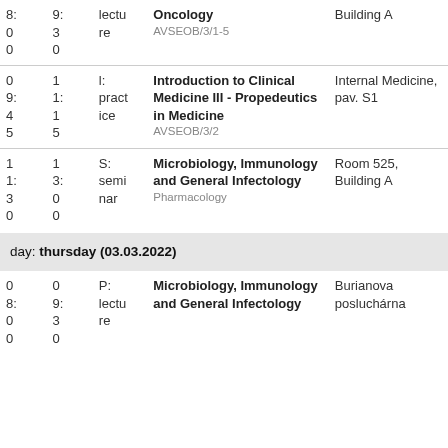| From | To | Type | Subject | Location |
| --- | --- | --- | --- | --- |
| 8:00
9:00
0
0 | 9:30
0
0 | lectu re | Oncology
AVSEOB/3/1-5 | Building A |
| 0
9:
4
5 | 1
1:
1
5 | l: pract ice | Introduction to Clinical Medicine III - Propedeutics in Medicine
AVSEOB/3/2 | Internal Medicine, pav. S1 |
| 1
1:
3
0 | 1
3:
0
0 | S: semi nar | Microbiology, Immunology and General Infectology
Pharmacology | Room 525, Building A |
|  |  |  |  |  |
| --- | --- | --- | --- | --- |
| day: thursday (03.03.2022) |  |  |  |  |
| From | To | Type | Subject | Location |
| --- | --- | --- | --- | --- |
| 0
8:
0
0 | 0
9:
3
0 | P: lectu re | Microbiology, Immunology and General Infectology | Burianova posluchárna |